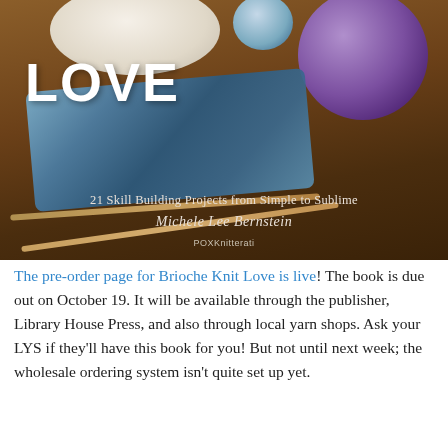[Figure (photo): Book cover for 'Brioche Knit Love' by Michele Lee Bernstein (POXKnitterati). Shows knitting needles with a blue brioche knit swatch on a wooden table, a ball of purple yarn, a small blue yarn ball, and a plate with food in the background. Text on cover reads: 'LOVE', '21 Skill Building Projects from Simple to Sublime', 'Michele Lee Bernstein', 'POXKnitterati'.]
The pre-order page for Brioche Knit Love is live! The book is due out on October 19. It will be available through the publisher, Library House Press, and also through local yarn shops. Ask your LYS if they'll have this book for you! But not until next week; the wholesale ordering system isn't quite set up yet.